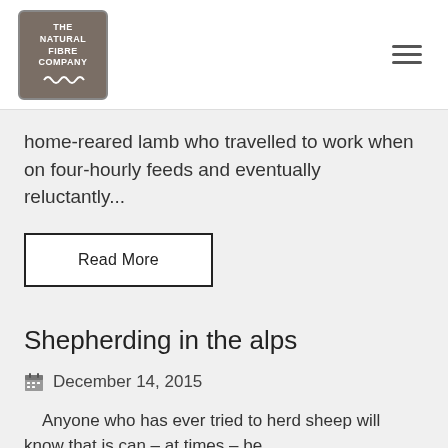THE NATURAL FIBRE COMPANY
home-reared lamb who travelled to work when on four-hourly feeds and eventually reluctantly...
Read More
Shepherding in the alps
December 14, 2015
Anyone who has ever tried to herd sheep will know that is can – at times – be